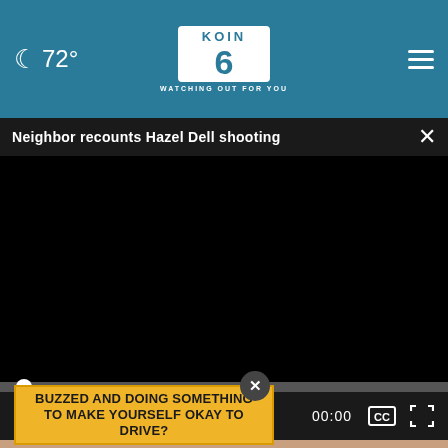72° KOIN CBS 6 WATCHING OUT FOR YOU
Neighbor recounts Hazel Dell shooting
[Figure (screenshot): Black video player area with video paused, showing progress bar at start and controls bar with play button, mute button, timecode 00:00, CC button, and fullscreen button]
[Figure (screenshot): Advertisement overlay with yellow background reading BUZZED AND DOING SOMETHING TO MAKE YOURSELF OKAY TO DRIVE? with dark circular close button]